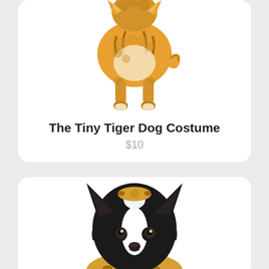[Figure (photo): A small fluffy golden dog wearing a tiger costume, viewed from behind/side angle, standing on white background]
The Tiny Tiger Dog Costume
$10
[Figure (photo): A black and white dog (Border Collie mix) wearing a leopard print costume, facing forward, close-up of head and neck]